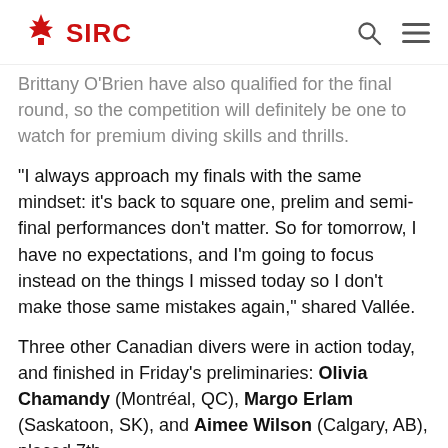SIRC
Brittany O'Brien have also qualified for the final round, so the competition will definitely be one to watch for premium diving skills and thrills.
“I always approach my finals with the same mindset: it’s back to square one, prelim and semi-final performances don’t matter. So for tomorrow, I have no expectations, and I’m going to focus instead on the things I missed today so I don’t make those same mistakes again,” shared Vallée.
Three other Canadian divers were in action today, and finished in Friday’s preliminaries: Olivia Chamandy (Montréal, QC), Margo Erlam (Saskatoon, SK), and Aimee Wilson (Calgary, AB), placed 7th